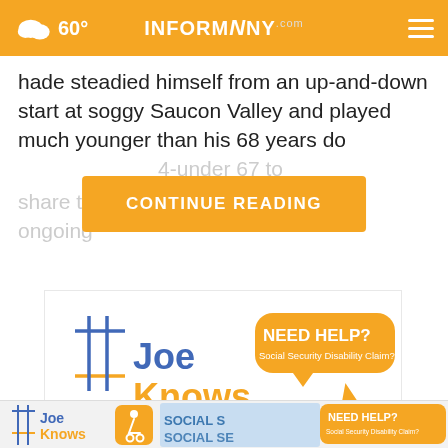60° INFORMNNY.com
hade steadied himself from an up-and-down start at soggy Saucon Valley and played much younger than his 68 years do
4-under 67 to share the lead
CONTINUE READING
[Figure (advertisement): Joe Knows advertisement banner with disability icon and Social Security card imagery, plus Need Help? Social Security Disability Claim? callout.]
[Figure (advertisement): Joe Knows small bottom banner ad with disability icon and SOCIAL SECURITY text and Need Help? badge.]